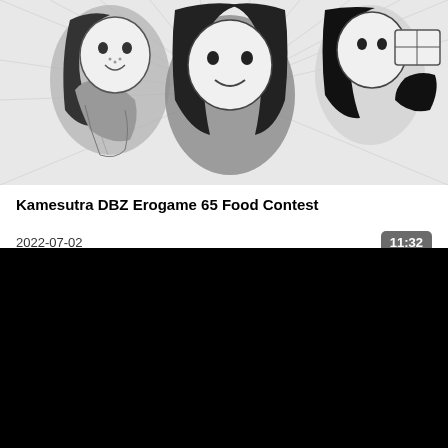[Figure (illustration): Manga/anime style black and white illustration showing characters in a food contest scene with speed lines in the background]
Kamesutra DBZ Erogame 65 Food Contest
2022-07-02
11:32
[Figure (screenshot): Black video player area]